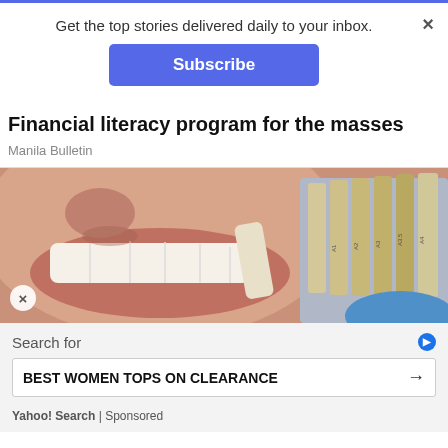Get the top stories delivered daily to your inbox.
Subscribe
Financial literacy program for the masses
Manila Bulletin
[Figure (photo): Close-up photo of a person's teeth and smile with dental shade guide samples being held up for comparison.]
Search for
BEST WOMEN TOPS ON CLEARANCE
Yahoo! Search | Sponsored